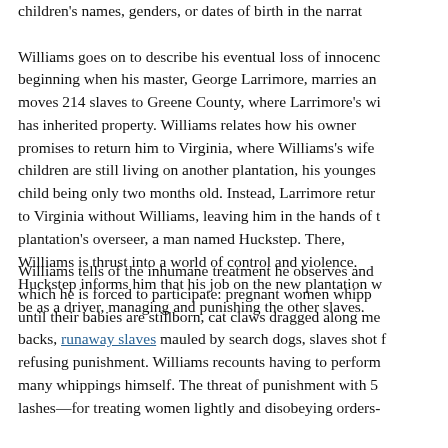children's names, genders, or dates of birth in the narrat...
Williams goes on to describe his eventual loss of innocence, beginning when his master, George Larrimore, marries and moves 214 slaves to Greene County, where Larrimore's wife has inherited property. Williams relates how his owner promises to return him to Virginia, where Williams's wife and children are still living on another plantation, his youngest child being only two months old. Instead, Larrimore returns to Virginia without Williams, leaving him in the hands of the plantation's overseer, a man named Huckstep. There, Williams is thrust into a world of control and violence. Huckstep informs him that his job on the new plantation will be as a driver, managing and punishing the other slaves.
Williams tells of the inhumane treatment he observes and in which he is forced to participate: pregnant women whipped until their babies are stillborn, cat claws dragged along men's backs, runaway slaves mauled by search dogs, slaves shot for refusing punishment. Williams recounts having to perform many whippings himself. The threat of punishment with 500 lashes—for treating women lightly and disobeying orders—